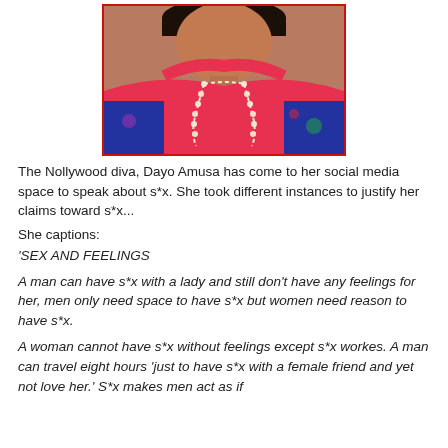[Figure (photo): Photo of Nollywood actress Dayo Amusa wearing a red top and blue floral dress with a pearl necklace, framed with a red border]
The Nollywood diva, Dayo Amusa has come to her social media space to speak about s*x. She took different instances to justify her claims toward s*x...
She captions:
'SEX AND FEELINGS
A man can have s*x with a lady and still don't have any feelings for her, men only need space to have s*x but women need reason to have s*x.
A woman cannot have s*x without feelings except s*x workes. A man can travel eight hours 'just to have s*x with a female friend and yet not love her.' S*x makes men act as if they are in love while in s*x. The relationship comes...